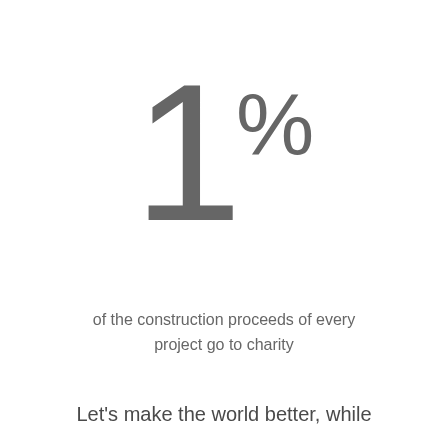[Figure (infographic): Large grey numeral '1%' displayed as a decorative statistic graphic, centered on the page.]
of the construction proceeds of every project go to charity
Let's make the world better, while